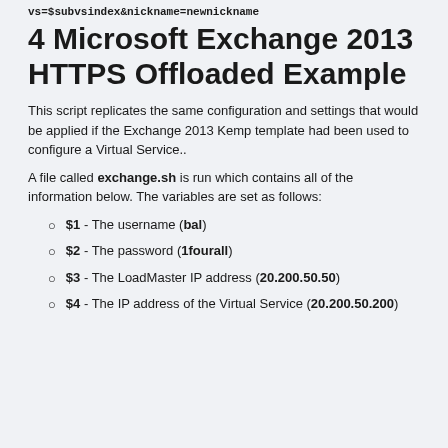vs=$subvsindex&nickname=newnickname
4 Microsoft Exchange 2013 HTTPS Offloaded Example
This script replicates the same configuration and settings that would be applied if the Exchange 2013 Kemp template had been used to configure a Virtual Service..
A file called exchange.sh is run which contains all of the information below. The variables are set as follows:
$1 - The username (bal)
$2 - The password (1fourall)
$3 - The LoadMaster IP address (20.200.50.50)
$4 - The IP address of the Virtual Service (20.200.50.200)